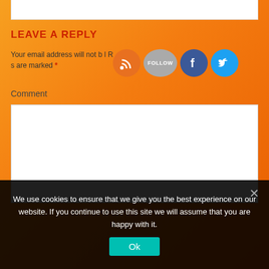LEAVE A REPLY
Your email address will not be published. Required fields are marked *
Comment
[Figure (screenshot): Social media icons: RSS feed, Follow button, Facebook, Twitter]
We use cookies to ensure that we give you the best experience on our website. If you continue to use this site we will assume that you are happy with it.
Ok